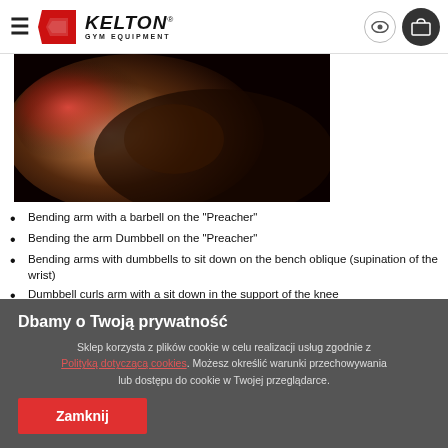KELTON GYM EQUIPMENT
[Figure (photo): Close-up photo of a person holding their elbow/wrist area, with red highlight indicating pain or injury, dark background]
Bending arm with a barbell on the "Preacher"
Bending the arm Dumbbell on the "Preacher"
Bending arms with dumbbells to sit down on the bench oblique (supination of the wrist)
Dumbbell curls arm with a sit down in the support of the knee
Bending arm with a barbell on the "Preacher"
Bending wrists undercling / nachwytem to sit down
Dbamy o Twoją prywatność
Sklep korzysta z plików cookie w celu realizacji usług zgodnie z Polityką dotyczącą cookies. Możesz określić warunki przechowywania lub dostępu do cookie w Twojej przeglądarce.
Zamknij